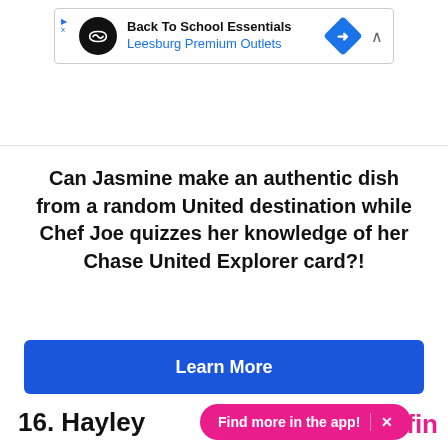[Figure (infographic): Advertisement banner for Leesburg Premium Outlets - Back To School Essentials, with circular logo, navigation arrow icon, and collapse caret]
Can Jasmine make an authentic dish from a random United destination while Chef Joe quizzes her knowledge of her Chase United Explorer card?!
Learn More
Presented By
[Figure (photo): United Explorer MileagePlus Visa credit card]
16. Hayley
Find more in the app!